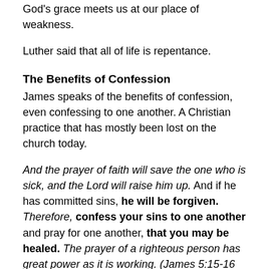God's grace meets us at our place of weakness.
Luther said that all of life is repentance.
The Benefits of Confession
James speaks of the benefits of confession, even confessing to one another. A Christian practice that has mostly been lost on the church today.
And the prayer of faith will save the one who is sick, and the Lord will raise him up. And if he has committed sins, he will be forgiven. Therefore, confess your sins to one another and pray for one another, that you may be healed. The prayer of a righteous person has great power as it is working. (James 5:15-16 ESV)
I can't say that it is easy to open up and share about areas where we are wounded, but it is freeing when